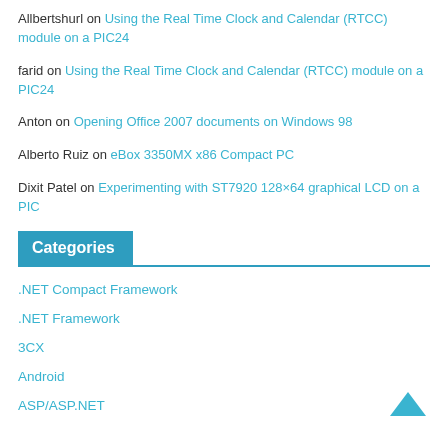Allbertshurl on Using the Real Time Clock and Calendar (RTCC) module on a PIC24
farid on Using the Real Time Clock and Calendar (RTCC) module on a PIC24
Anton on Opening Office 2007 documents on Windows 98
Alberto Ruiz on eBox 3350MX x86 Compact PC
Dixit Patel on Experimenting with ST7920 128×64 graphical LCD on a PIC
Categories
.NET Compact Framework
.NET Framework
3CX
Android
ASP/ASP.NET